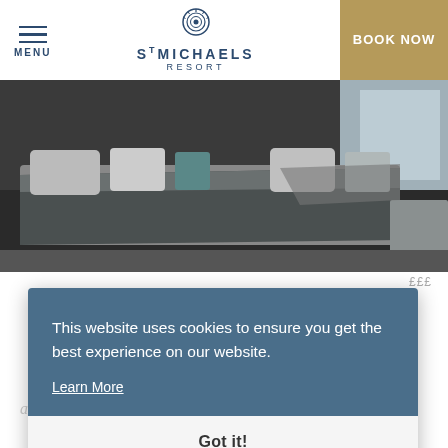MENU | ST MICHAELS RESORT | BOOK NOW
[Figure (photo): Hotel bedroom with grey bedding, decorative pillows and a view of the outside through a window]
£££
This website uses cookies to ensure you get the best experience on our website. Learn More
Got it!
and couples.